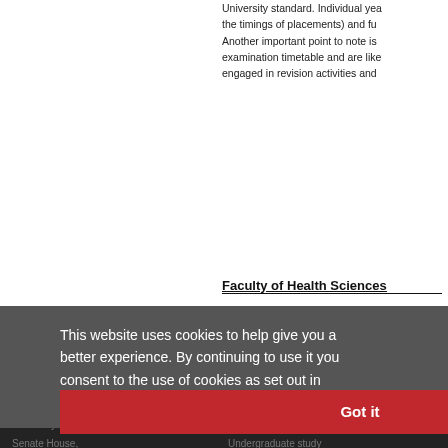University standard. Individual years may vary (eg the timings of placements) and fu... Another important point to note is examination timetable and are like... engaged in revision activities and
Faculty of Health Sciences
Faculty Assessment and Feedba...
only.
This website uses cookies to help give you a better experience. By continuing to use it you consent to the use of cookies as set out in our Privacy Policy
Got it
Feedback
University of Bristol, Senate House, Tyndall Avenue,
Study at Bristol Undergraduate study Postgraduate study